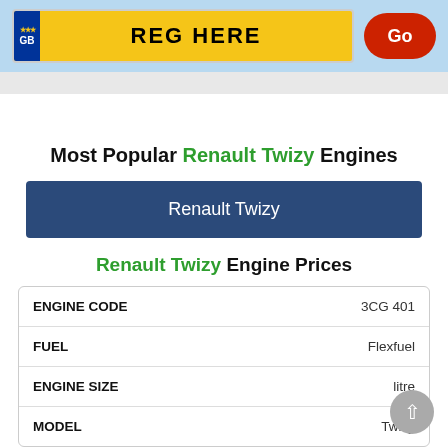[Figure (screenshot): UK vehicle registration plate search bar with yellow plate showing 'REG HERE', GB identifier on left, and a red 'Go' button on the right, all on a light blue background.]
Most Popular Renault Twizy Engines
Renault Twizy
Renault Twizy Engine Prices
|  |  |
| --- | --- |
| ENGINE CODE | 3CG 401 |
| FUEL | Flexfuel |
| ENGINE SIZE | litre |
| MODEL | Twizy |